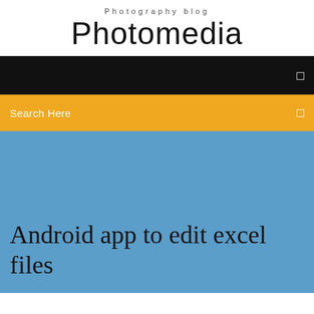Photography blog
Photomedia
[Figure (screenshot): Black navigation bar with a small square icon on the right]
[Figure (screenshot): Golden/amber search bar with 'Search Here' text on left and a small square icon on right]
Android app to edit excel files